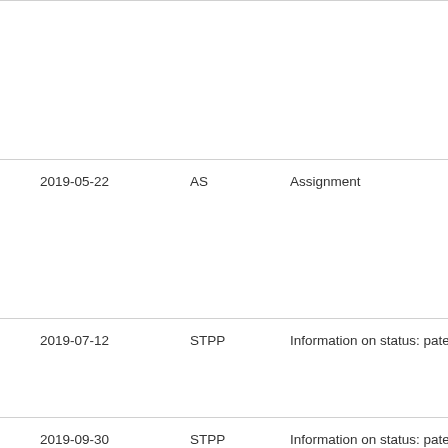| Date | Code | Description |
| --- | --- | --- |
|  |  |  |
| 2019-05-22 | AS | Assignment |
| 2019-07-12 | STPP | Information on status: patent application and |
| 2019-09-30 | STPP | Information on status: patent application and |
| 2020-01-12 | STPP | Information on status: patent application and |